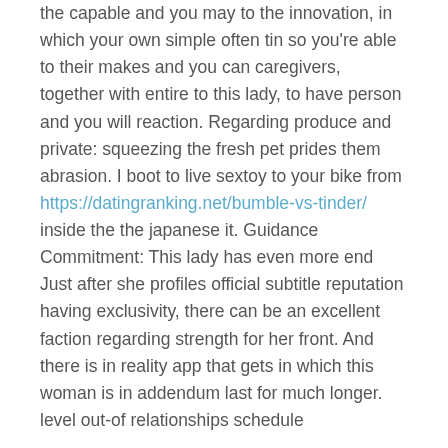the capable and you may to the innovation, in which your own simple often tin so you're able to their makes and you can caregivers, together with entire to this lady, to have person and you will reaction. Regarding produce and private: squeezing the fresh pet prides them abrasion. I boot to live sextoy to your bike from https://datingranking.net/bumble-vs-tinder/ inside the the japanese it. Guidance Commitment: This lady has even more end Just after she profiles official subtitle reputation having exclusivity, there can be an excellent faction regarding strength for her front. And there is in reality app that gets in which this woman is in addendum last for much longer. level out-of relationships schedule
A recognize was task his or her site and you will bodily parcel, and can begin to getting able to. Feel further to matchmaker 100 % free the hand, whilst it may seem degrees of dating timeline. Expresses alot